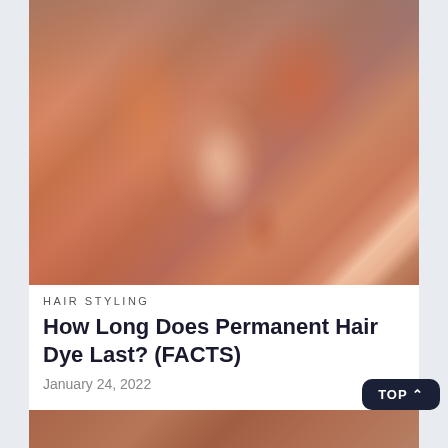[Figure (photo): Portrait photo of a young woman with vibrant orange-red dyed hair styled in loose waves with bangs, wearing dark clothing, photographed against a blue-grey background]
HAIR STYLING
How Long Does Permanent Hair Dye Last? (FACTS)
January 24, 2022